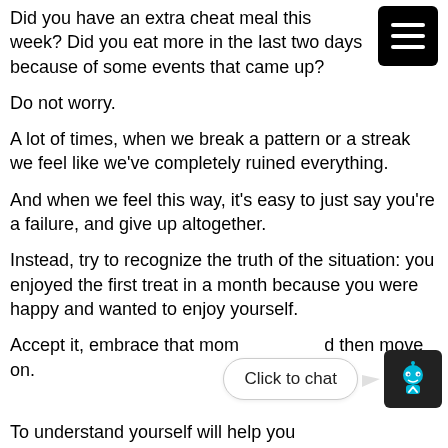Did you have an extra cheat meal this week? Did you eat more in the last two days because of some events that came up?
Do not worry.
A lot of times, when we break a pattern or a streak we feel like we've completely ruined everything.
And when we feel this way, it's easy to just say you're a failure, and give up altogether.
Instead, try to recognize the truth of the situation: you enjoyed the first treat in a month because you were happy and wanted to enjoy yourself.
Accept it, embrace that moment, and then move on.